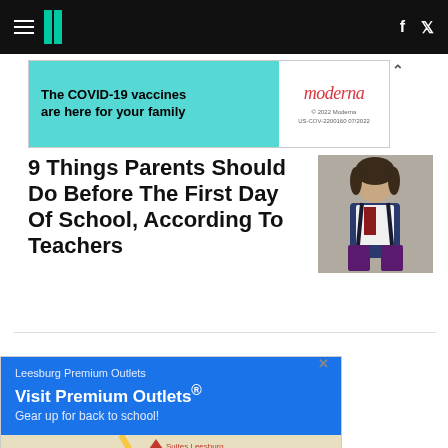HuffPost navigation bar with hamburger menu, logo, facebook and twitter icons
[Figure (illustration): Top advertisement banner: 'The COVID-19 vaccines are here for your family' with Moderna logo and disclaimer text]
9 Things Parents Should Do Before The First Day Of School, According To Teachers
[Figure (photo): Photo of a young girl in school uniform with backpack standing outside]
[Figure (illustration): Bottom advertisement: Leesburg Premium Outlets - 'Visit Premium Outlets® Gear up for back to school!' with a Google Maps strip showing Suites Leesburg and Leesburg Premium Outlets location]